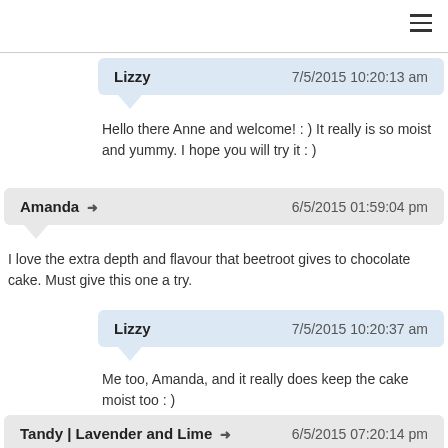Lizzy — 7/5/2015 10:20:13 am — Hello there Anne and welcome! : ) It really is so moist and yummy. I hope you will try it : )
Amanda → — 6/5/2015 01:59:04 pm — I love the extra depth and flavour that beetroot gives to chocolate cake. Must give this one a try.
Lizzy — 7/5/2015 10:20:37 am — Me too, Amanda, and it really does keep the cake moist too : )
Tandy | Lavender and Lime → — 6/5/2015 07:20:14 pm